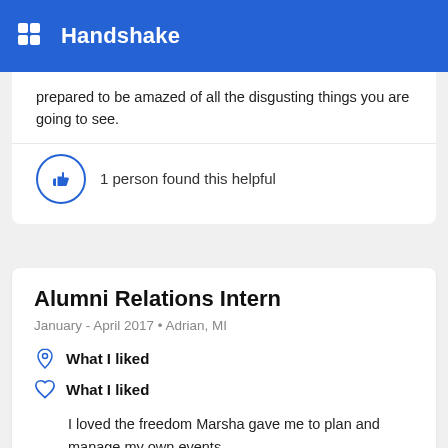Handshake
prepared to be amazed of all the disgusting things you are going to see.
1 person found this helpful
Alumni Relations Intern
January - April 2017 • Adrian, MI
What I liked
I loved the freedom Marsha gave me to plan and manage my own events.
What I wish was different